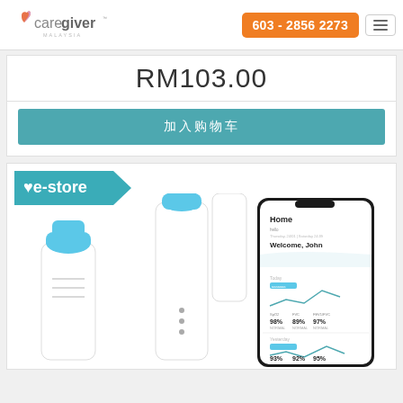[Figure (logo): Caregiver Malaysia logo with orange/red heart icon]
603 - 2856 2273
RM103.00
加入购物车
[Figure (other): e-store banner with medical devices (bottles/sensors) and phone app screenshot showing Home screen with Welcome John and health readings]
e-store